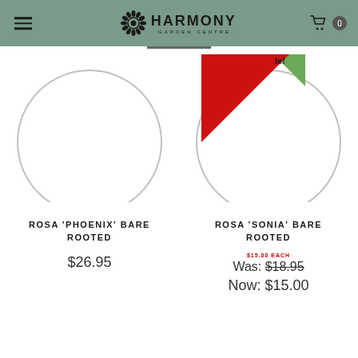Harmony Garden Centre
[Figure (illustration): Rosa 'Phoenix' bare rooted plant product image - circular arc placeholder on white background]
ROSA 'PHOENIX' BARE ROOTED
$26.95
[Figure (illustration): Rosa 'Sonia' bare rooted plant product image - circular arc placeholder on white background with red 'Special' triangle badge]
ROSA 'SONIA' BARE ROOTED
$15.00 EACH Was: $18.95 Now: $15.00